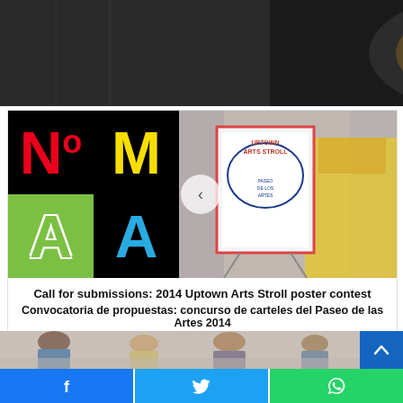[Figure (photo): Top portion: dark photo showing NYPD badge/uniform on a dark suit]
[Figure (logo): NOMAA colored block logo with N in red, M in yellow, A in green, A in cyan on black backgrounds]
[Figure (photo): Photo of man in yellow Uptown t-shirt holding Uptown Arts Stroll poster on easel, with navigation arrow overlay]
Call for submissions: 2014 Uptown Arts Stroll poster contest
Convocatoria de propuestas: concurso de carteles del Paseo de las Artes 2014
[Figure (photo): Bottom partial photo showing group of elderly people gathered around a table]
[Figure (infographic): Social sharing bar with Facebook, Twitter, and WhatsApp buttons]